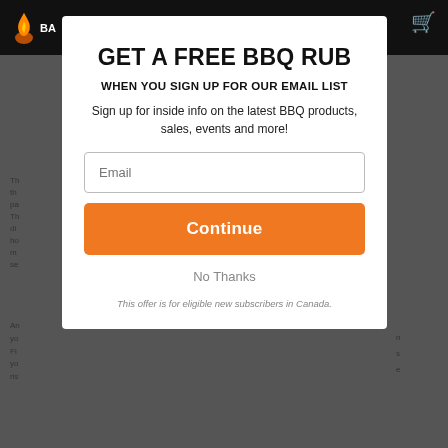[Figure (screenshot): Website popup modal over a dark background with a top navigation bar showing a flame logo and cart icon. The modal offers a free BBQ rub for signing up for an email list.]
GET A FREE BBQ RUB
WHEN YOU SIGN UP FOR OUR EMAIL LIST
Sign up for inside info on the latest BBQ products, sales, events and more!
Continue
No Thanks
This offer is for eligible new subscribers in Canada.